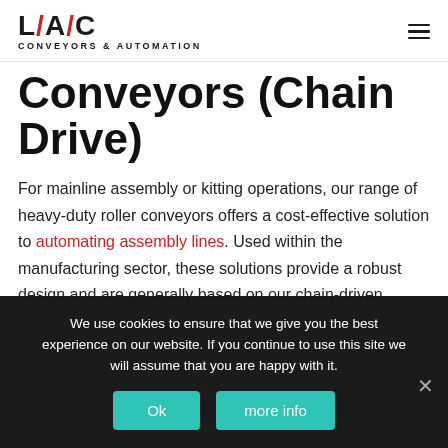[Figure (logo): LAC Conveyors & Automation logo with stylized L/A/C text and red slashes]
Conveyors (Chain Drive)
For mainline assembly or kitting operations, our range of heavy-duty roller conveyors offers a cost-effective solution to automating assembly lines. Used within the manufacturing sector, these solutions provide a robust design and are generally based on our chain-driven
We use cookies to ensure that we give you the best experience on our website. If you continue to use this site we will assume that you are happy with it.